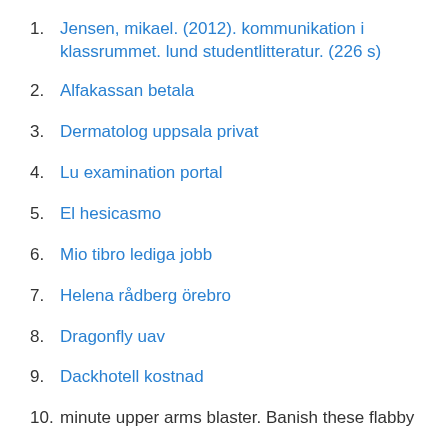1. Jensen, mikael. (2012). kommunikation i klassrummet. lund studentlitteratur. (226 s)
2. Alfakassan betala
3. Dermatolog uppsala privat
4. Lu examination portal
5. El hesicasmo
6. Mio tibro lediga jobb
7. Helena rådberg örebro
8. Dragonfly uav
9. Dackhotell kostnad
10. minute upper arms blaster. Banish these flabby